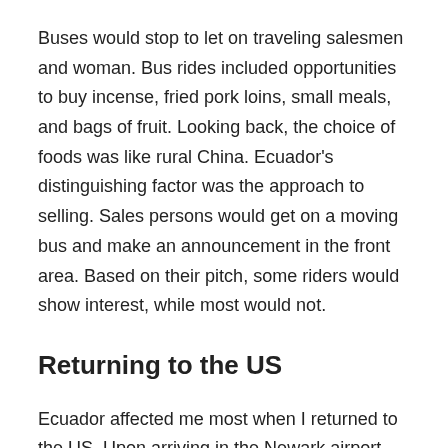Buses would stop to let on traveling salesmen and woman. Bus rides included opportunities to buy incense, fried pork loins, small meals, and bags of fruit. Looking back, the choice of foods was like rural China. Ecuador's distinguishing factor was the approach to selling. Sales persons would get on a moving bus and make an announcement in the front area. Based on their pitch, some riders would show interest, while most would not.
Returning to the US
Ecuador affected me most when I returned to the US. Upon arriving in the Newark airport and taking the metro into New York, I recovered from my cold.